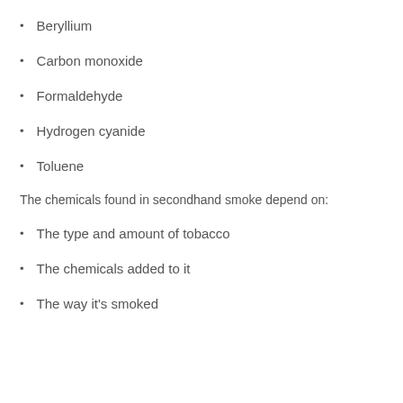Beryllium
Carbon monoxide
Formaldehyde
Hydrogen cyanide
Toluene
The chemicals found in secondhand smoke depend on:
The type and amount of tobacco
The chemicals added to it
The way it's smoked